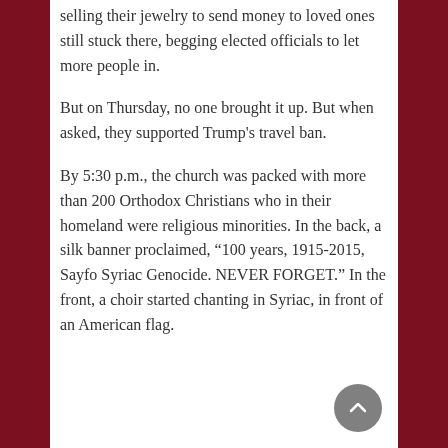selling their jewelry to send money to loved ones still stuck there, begging elected officials to let more people in.
But on Thursday, no one brought it up. But when asked, they supported Trump’s travel ban.
By 5:30 p.m., the church was packed with more than 200 Orthodox Christians who in their homeland were religious minorities. In the back, a silk banner proclaimed, “100 years, 1915-2015, Sayfo Syriac Genocide. NEVER FORGET.” In the front, a choir started chanting in Syriac, in front of an American flag.